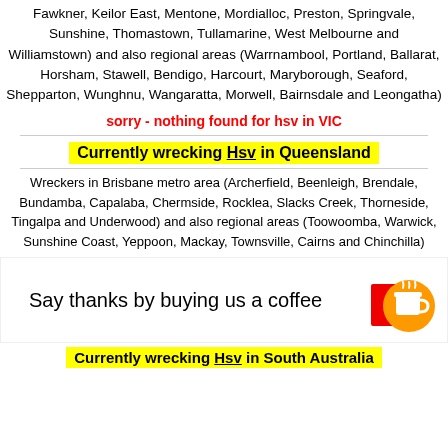Fawkner, Keilor East, Mentone, Mordialloc, Preston, Springvale, Sunshine, Thomastown, Tullamarine, West Melbourne and Williamstown) and also regional areas (Warrnambool, Portland, Ballarat, Horsham, Stawell, Bendigo, Harcourt, Maryborough, Seaford, Shepparton, Wunghnu, Wangaratta, Morwell, Bairnsdale and Leongatha)
sorry - nothing found for hsv in VIC
Currently wrecking Hsv in Queensland
Wreckers in Brisbane metro area (Archerfield, Beenleigh, Brendale, Bundamba, Capalaba, Chermside, Rocklea, Slacks Creek, Thorneside, Tingalpa and Underwood) and also regional areas (Toowoomba, Warwick, Sunshine Coast, Yeppoon, Mackay, Townsville, Cairns and Chinchilla)
[Figure (illustration): Coffee cup icon with orange circular background and red square accent, with text 'Say thanks by buying us a coffee']
Currently wrecking Hsv in South Australia